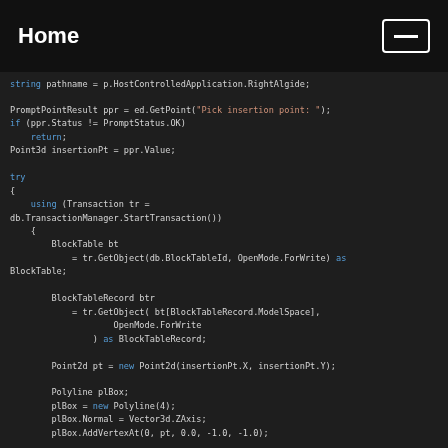Home
[Figure (screenshot): C# code snippet showing AutoCAD API usage: PromptPointResult, Transaction, BlockTable, BlockTableRecord, Point2d, Polyline initialization]